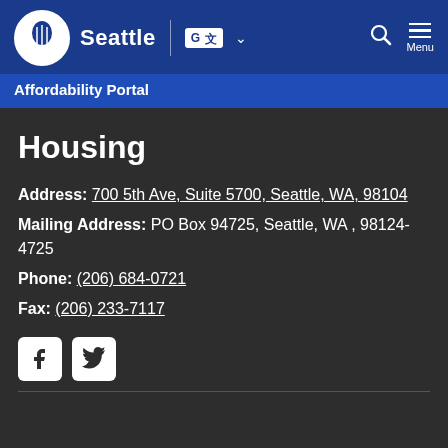Seattle | Affordability Portal
Housing
Address: 700 5th Ave, Suite 5700, Seattle, WA, 98104
Mailing Address: PO Box 94725, Seattle, WA , 98124-4725
Phone: (206) 684-0721
Fax: (206) 233-7117
[Figure (logo): Facebook and Twitter social media icons]